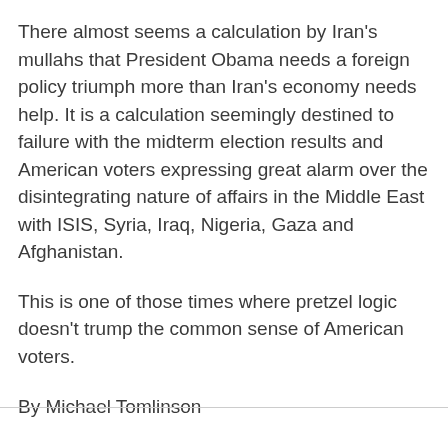There almost seems a calculation by Iran's mullahs that President Obama needs a foreign policy triumph more than Iran's economy needs help. It is a calculation seemingly destined to failure with the midterm election results and American voters expressing great alarm over the disintegrating nature of affairs in the Middle East with ISIS, Syria, Iraq, Nigeria, Gaza and Afghanistan.
This is one of those times where pretzel logic doesn't trump the common sense of American voters.
By Michael Tomlinson